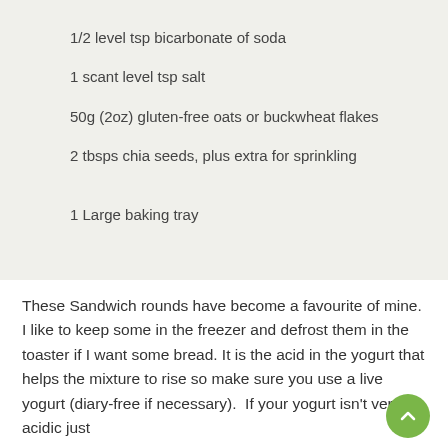1/2 level tsp bicarbonate of soda
1 scant level tsp salt
50g (2oz) gluten-free oats or buckwheat flakes
2 tbsps chia seeds, plus extra for sprinkling
1 Large baking tray
These Sandwich rounds have become a favourite of mine. I like to keep some in the freezer and defrost them in the toaster if I want some bread. It is the acid in the yogurt that helps the mixture to rise so make sure you use a live yogurt (diary-free if necessary).  If your yogurt isn't very acidic just